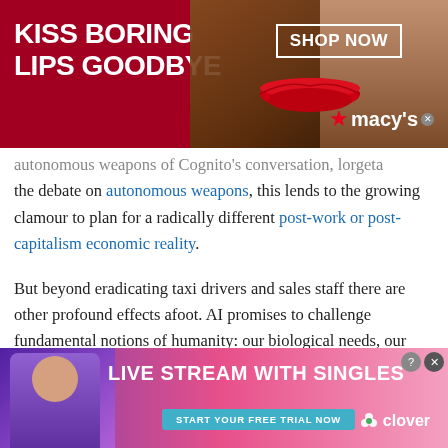[Figure (illustration): Top advertisement banner: red background with 'KISS BORING LIPS GOODBYE' text in white, a woman's face with red lips in center, 'SHOP NOW' button and Macy's logo on the right]
autonomous weapons, this lends to the growing clamour to plan for a radically different post-work or post-capitalism economic reality.
But beyond eradicating taxi drivers and sales staff there are other profound effects afoot. AI promises to challenge fundamental notions of humanity: our biological needs, our social relations, our morality and also our aesthetics.
A lesson in humility
[Figure (illustration): Bottom advertisement: purple-to-pink gradient background with woman on left, 'LIVE STREAM WITH SINGLES' text, 'START YOUR FREE TRIAL NOW' button, and Clover logo]